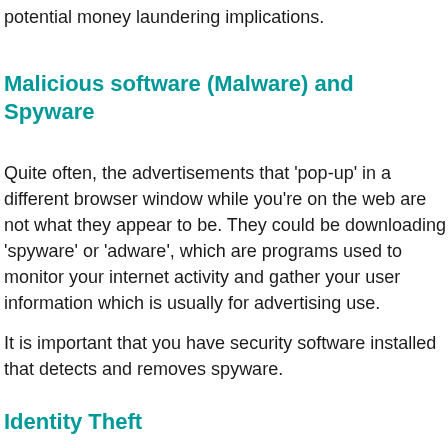potential money laundering implications.
Malicious software (Malware) and Spyware
Quite often, the advertisements that 'pop-up' in a different browser window while you're on the web are not what they appear to be. They could be downloading 'spyware' or 'adware', which are programs used to monitor your internet activity and gather your user information which is usually for advertising use.
It is important that you have security software installed that detects and removes spyware.
Identity Theft